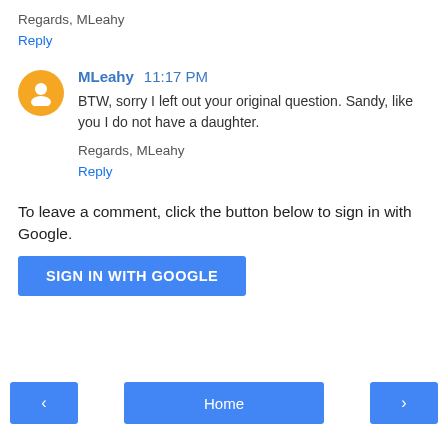Regards, MLeahy
Reply
MLeahy 11:17 PM
BTW, sorry I left out your original question. Sandy, like you I do not have a daughter.
Regards, MLeahy
Reply
To leave a comment, click the button below to sign in with Google.
SIGN IN WITH GOOGLE
Home